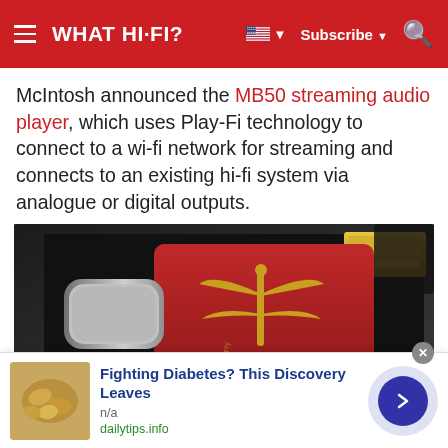WHAT HI-FI?
McIntosh announced the MB50 streaming audio player, which uses Play-Fi technology to connect to a wi-fi network for streaming and connects to an existing hi-fi system via analogue or digital outputs.
[Figure (photo): Close-up photo of an AudioQuest DragonFly DAC — a red USB device with a dragonfly logo in gold, lying on a dark surface with a gold USB connector visible]
Fighting Diabetes? This Discovery Leaves
n/a
dailytips.info